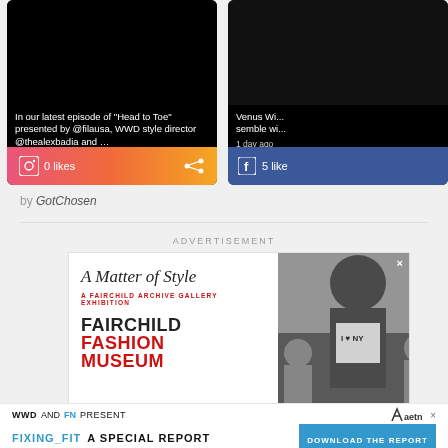[Figure (screenshot): Instagram social card showing video thumbnail (dark/black) with text: 'In our latest episode of "Head to Toe" presented by @filausa, WWD style director @thealexbadia and …', timestamp '2 days ago', Instagram icon, '0 likes', share icon, gradient footer bar (pink to orange)]
[Figure (screenshot): Facebook social card (partially visible, cropped) with dark video thumbnail, text 'Venus Wi... semble wi...', timestamp '1 day ago', Facebook icon, '5 like']
by GotChosen
ADVERTISEMENT
[Figure (screenshot): Advertisement for 'A Matter of Style - A Fairchild Archive Gallery Exhibition' by Fairchild Fashion Museum. Left panel: white background with serif italic title 'A Matter of Style', red subtitle 'A FAIRCHILD ARCHIVE GALLERY EXHIBITION', bold black and red text 'FAIRCHILD FASHION MUSEUM'. Right panel: black and white photograph of person in crowd wearing 'I Love NY' t-shirt and hat. Close X button top right.]
WWD AND FN PRESENT
FIXING_FIT A SPECIAL REPORT
DOWNLOAD THE REPORT